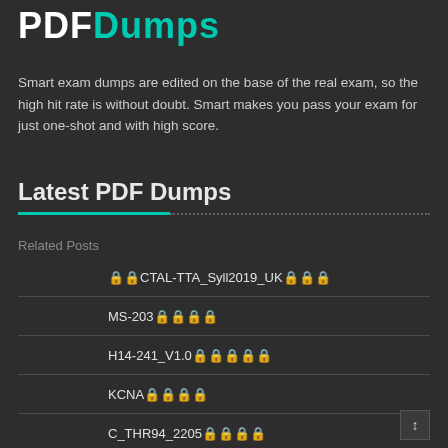PDFDumps
Smart exam dumps are edited on the base of the real exam, so the high hit rate is without doubt. Smart makes you pass your exam for just one-shot and with high score.
Latest PDF Dumps
Related Posts
🔒CTAL-TTA_Syll2019_UK🔒🔒🔒
MS-203🔒🔒🔒🔒
H14-241_V1.0🔒🔒🔒🔒🔒
KCNA🔒🔒🔒🔒
C_THR94_2205🔒🔒🔒🔒
🔒🔒🔒1Z0-1077-20🔒🔒